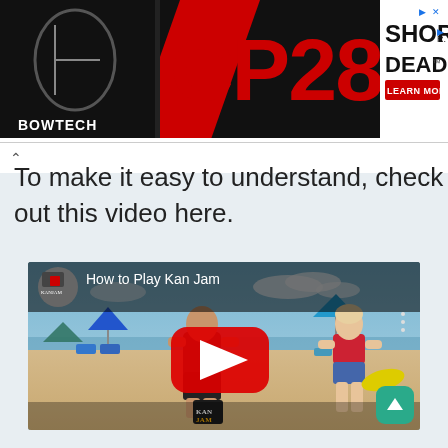[Figure (screenshot): Bowtech CP28 advertisement banner — black background with red diagonal stripe, 'CP28' in large red text, 'BOWTECH' logo on left, 'SHORTER. DEADLIER. LEARN MORE' text on right with a small arrow icon]
To make it easy to understand, check out this video here.
[Figure (screenshot): YouTube video embed thumbnail for 'How to Play Kan Jam' — beach scene with a man crouching near a KanJam can and a woman holding a yellow frisbee, YouTube play button overlay in center, channel logo in top-left corner]